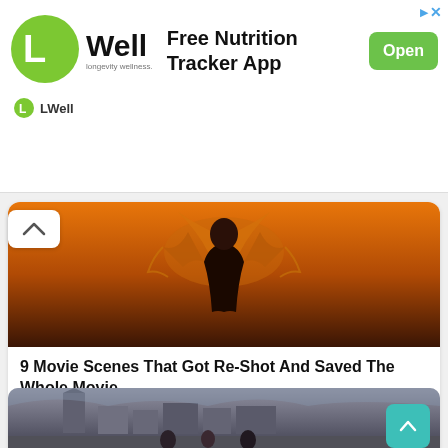[Figure (screenshot): LWell longevity wellness app advertisement banner with logo, 'Free Nutrition Tracker App' text, and green 'Open' button]
[Figure (photo): Movie scene with a figure in dramatic orange/sunset lighting, arms raised with flowing fabric - from article about re-shot movie scenes]
9 Movie Scenes That Got Re-Shot And Saved The Whole Movie
More...
199  50  66
[Figure (photo): Street scene with people and historic buildings including a church steeple]